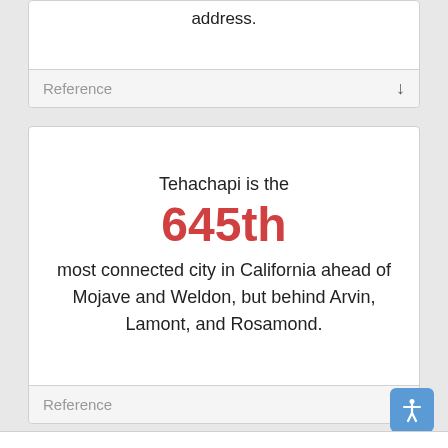address.
Reference
Tehachapi is the 645th most connected city in California ahead of Mojave and Weldon, but behind Arvin, Lamont, and Rosamond.
Reference